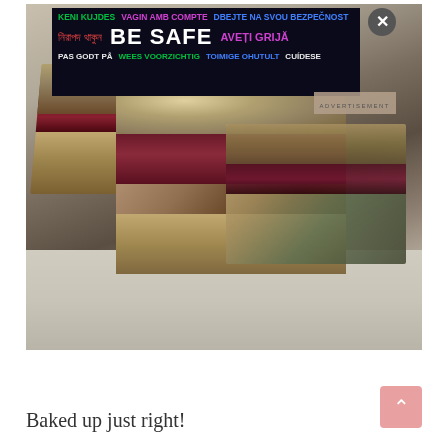[Figure (photo): Photo of blueberry crumble bars cut into squares on a marble surface, with an advertisement overlay showing 'BE SAFE' in multiple languages]
Baked up just right!